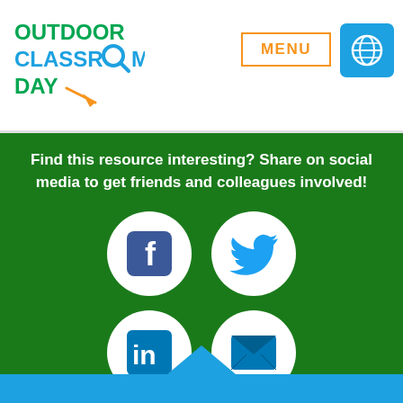[Figure (logo): Outdoor Classroom Day logo with magnifying glass icon, orange and green text]
[Figure (other): MENU button with orange border and globe icon on blue square background]
Find this resource interesting? Share on social media to get friends and colleagues involved!
[Figure (illustration): Four social media sharing icons in white circles on green background: Facebook (blue F), Twitter (light blue bird), LinkedIn (blue in), Email (blue envelope)]